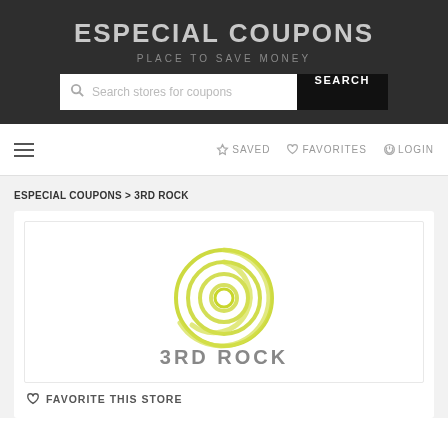ESPECIAL COUPONS
PLACE TO SAVE MONEY
Search stores for coupons  SEARCH
☰  ☆ SAVED  ♡ FAVORITES  ⏻LOGIN
ESPECIAL COUPONS > 3RD ROCK
[Figure (logo): 3RD ROCK brand logo with circular swirl in yellow-green color and text '3RD ROCK' below]
♡ FAVORITE THIS STORE